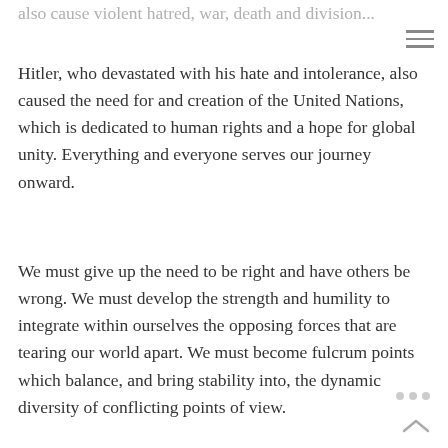also cause violent hatred, war, death and division...
Hitler, who devastated with his hate and intolerance, also caused the need for and creation of the United Nations, which is dedicated to human rights and a hope for global unity. Everything and everyone serves our journey onward.
We must give up the need to be right and have others be wrong. We must develop the strength and humility to integrate within ourselves the opposing forces that are tearing our world apart. We must become fulcrum points which balance, and bring stability into, the dynamic diversity of conflicting points of view.